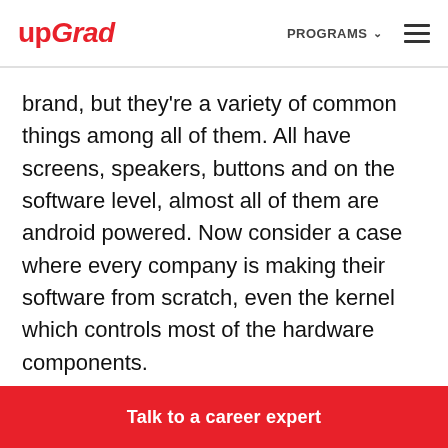upGrad | PROGRAMS
brand, but they're a variety of common things among all of them. All have screens, speakers, buttons and on the software level, almost all of them are android powered. Now consider a case where every company is making their software from scratch, even the kernel which controls most of the hardware components.
This would become a tedious and expensive process, therefore, increasing the price of the
Talk to a career expert